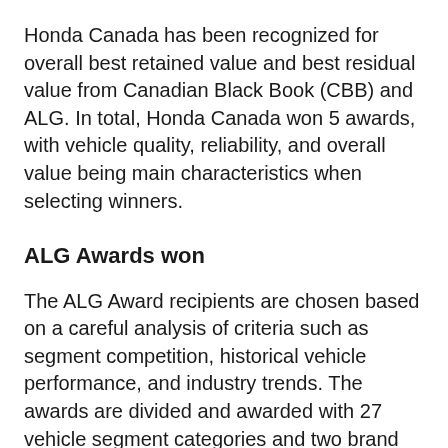Honda Canada has been recognized for overall best retained value and best residual value from Canadian Black Book (CBB) and ALG. In total, Honda Canada won 5 awards, with vehicle quality, reliability, and overall value being main characteristics when selecting winners.
ALG Awards won
The ALG Award recipients are chosen based on a careful analysis of criteria such as segment competition, historical vehicle performance, and industry trends. The awards are divided and awarded with 27 vehicle segment categories and two brand categories, Mainstream and Premium, in mind.
Honda Canada's ALG awards include: